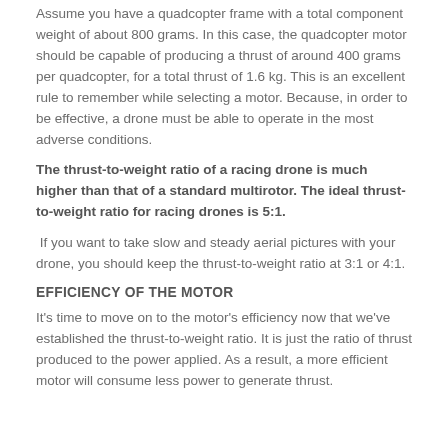Assume you have a quadcopter frame with a total component weight of about 800 grams. In this case, the quadcopter motor should be capable of producing a thrust of around 400 grams per quadcopter, for a total thrust of 1.6 kg. This is an excellent rule to remember while selecting a motor. Because, in order to be effective, a drone must be able to operate in the most adverse conditions.
The thrust-to-weight ratio of a racing drone is much higher than that of a standard multirotor. The ideal thrust-to-weight ratio for racing drones is 5:1.
If you want to take slow and steady aerial pictures with your drone, you should keep the thrust-to-weight ratio at 3:1 or 4:1.
EFFICIENCY OF THE MOTOR
It's time to move on to the motor's efficiency now that we've established the thrust-to-weight ratio. It is just the ratio of thrust produced to the power applied. As a result, a more efficient motor will consume less power to generate thrust.